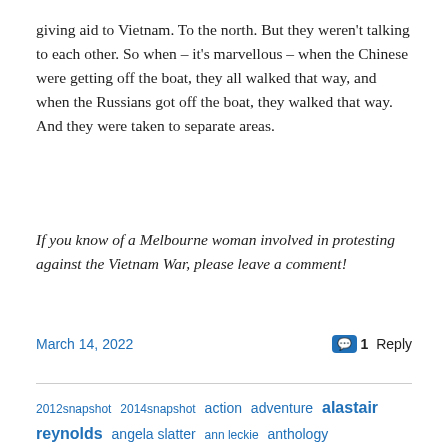giving aid to Vietnam. To the north. But they weren't talking to each other. So when – it's marvellous – when the Chinese were getting off the boat, they all walked that way, and when the Russians got off the boat, they walked that way. And they were taken to separate areas.
If you know of a Melbourne woman involved in protesting against the Vietnam War, please leave a comment!
March 14, 2022  1 Reply
2012snapshot  2014snapshot  action  adventure  alastair reynolds  angela slatter  ann leckie  anthology  archaeology  awards  badhistory  bad movies  battlestar galactica  books  bsg rewatch  classics  comics  cons